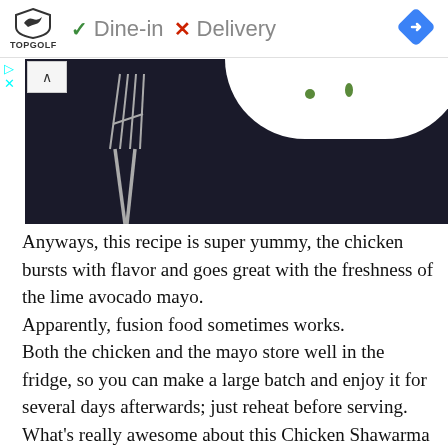[Figure (screenshot): Ad banner showing Topgolf logo with green checkmark Dine-in and red X Delivery text, plus a blue navigation diamond icon on the right]
[Figure (photo): Dark food photography showing a fork and white plate with green herb garnish on a dark background, with a collapse arrow button overlay]
Anyways, this recipe is super yummy, the chicken bursts with flavor and goes great with the freshness of the lime avocado mayo.
Apparently, fusion food sometimes works.
Both the chicken and the mayo store well in the fridge, so you can make a large batch and enjoy it for several days afterwards; just reheat before serving.
What's really awesome about this Chicken Shawarma is that it's ridiculously easy and quick to make. A complete no-